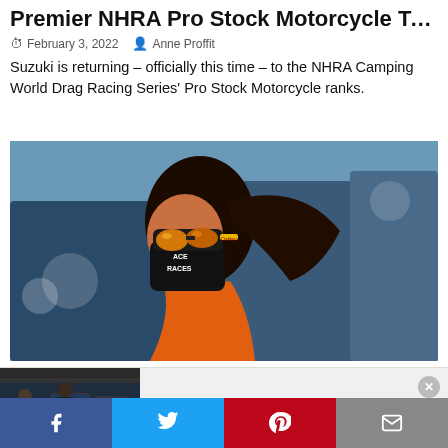Premier NHRA Pro Stock Motorcycle Team
February 3, 2022  Anne Proffit
Suzuki is returning – officially this time – to the NHRA Camping World Drag Racing Series' Pro Stock Motorcycle ranks.
[Figure (photo): Close-up photo of a woman wearing orange jacket, black face mask with 'ACE RACES' text, and yellow/orange reflective sunglasses, at a racing event with vehicles in background]
[Figure (screenshot): Video thumbnail showing people at computers in a garage/workshop setting with a play button overlay, titled 'TOYMAKERZ David Ankin at Borowski Race Engines']
TOYMAKERZ David Ankin at Borowski Race Engines
Facebook  Twitter  Pinterest  Email social share buttons